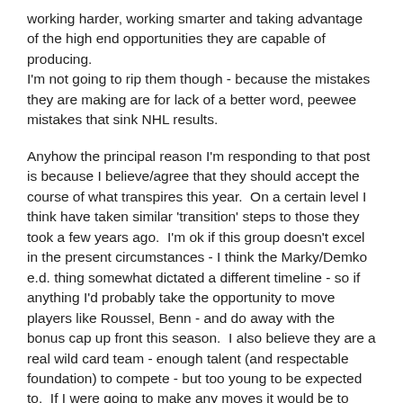working harder, working smarter and taking advantage of the high end opportunities they are capable of producing.
I'm not going to rip them though - because the mistakes they are making are for lack of a better word, peewee mistakes that sink NHL results.

Anyhow the principal reason I'm responding to that post is because I believe/agree that they should accept the course of what transpires this year.  On a certain level I think have taken similar 'transition' steps to those they took a few years ago.  I'm ok if this group doesn't excel in the present circumstances - I think the Marky/Demko e.d. thing somewhat dictated a different timeline - so if anything I'd probably take the opportunity to move players like Roussel, Benn - and do away with the bonus cap up front this season.  I also believe they are a real wild card team - enough talent (and respectable foundation) to compete - but too young to be expected to.  If I were going to make any moves it would be to dump a bit of cap - and not necessarily replace it.  If they could move guys like Roussel, Benn - perhaps even a Gaudette for a Nick Paul type young player that makes the bottom six stronger while not spending that bonus cap - great.  They could even surprise people - because really, right now they are getting sub-par performance from EP, Miller, Hughes, Horvat, and Gaudette looks like he's not really sustaining the step forward he appeared to take.  So, whatever the reasons for that